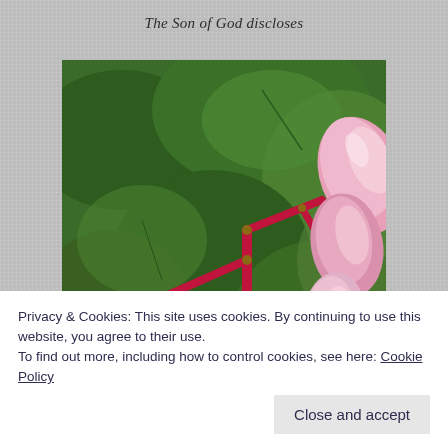The Son of God discloses
[Figure (photo): Close-up photograph of pink flower buds on red stems with green leaves in the background. The plant appears to be a begonia with multiple teardrop-shaped pink buds clustered together on angular red stalks.]
Privacy & Cookies: This site uses cookies. By continuing to use this website, you agree to their use.
To find out more, including how to control cookies, see here: Cookie Policy
Close and accept